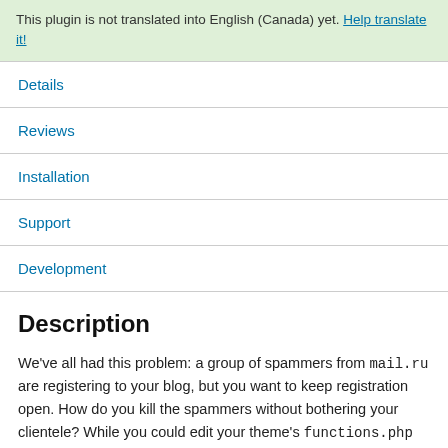This plugin is not translated into English (Canada) yet. Help translate it!
Details
Reviews
Installation
Support
Development
Description
We've all had this problem: a group of spammers from mail.ru are registering to your blog, but you want to keep registration open. How do you kill the spammers without bothering your clientele? While you could edit your theme's functions.php and